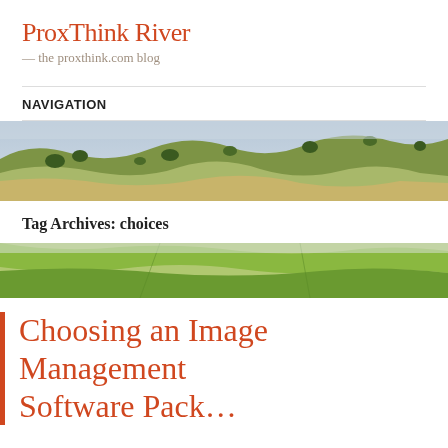ProxThink River — the proxthink.com blog
NAVIGATION
[Figure (photo): Aerial landscape photo showing rolling green and golden hills with scattered trees]
Tag Archives: choices
[Figure (photo): Aerial landscape photo showing green agricultural fields from above]
Choosing an Image Management Software Pack…